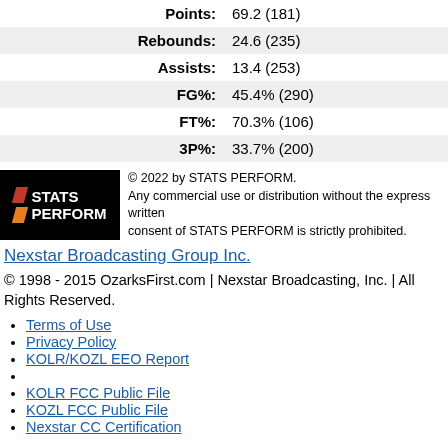| Points: | 69.2 (181) |
| Rebounds: | 24.6 (235) |
| Assists: | 13.4 (253) |
| FG%: | 45.4% (290) |
| FT%: | 70.3% (106) |
| 3P%: | 33.7% (200) |
[Figure (logo): STATS PERFORM logo - black background with red and orange diagonal slashes and white bold text reading STATS PERFORM]
© 2022 by STATS PERFORM. Any commercial use or distribution without the express written consent of STATS PERFORM is strictly prohibited.
Nexstar Broadcasting Group Inc.
© 1998 - 2015 OzarksFirst.com | Nexstar Broadcasting, Inc. | All Rights Reserved.
Terms of Use
Privacy Policy
KOLR/KOZL EEO Report
KOLR FCC Public File
KOZL FCC Public File
Nexstar CC Certification